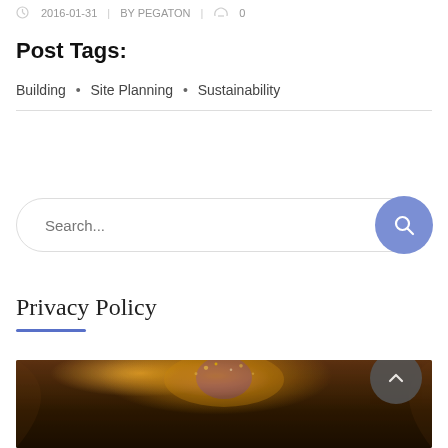2016-01-31  |  BY PEGATON  |  0
Post Tags:
Building  •  Site Planning  •  Sustainability
Search...
Privacy Policy
[Figure (photo): Photo of two people (man with sunglasses and woman) in a festive cave or underground venue with colorful lights including purple tree-like light decoration, warm orange cave walls, and people in background.]